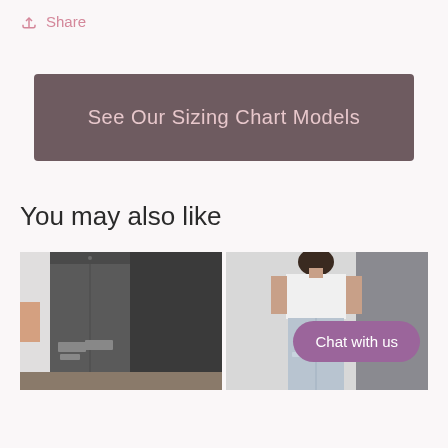Share
See Our Sizing Chart Models
You may also like
[Figure (photo): Two product photos side by side showing women's jeans. Left photo shows dark gray distressed skinny jeans on a model. Right photo shows a woman in a white t-shirt and light distressed jeans. A 'Chat with us' button overlay appears on the right photo.]